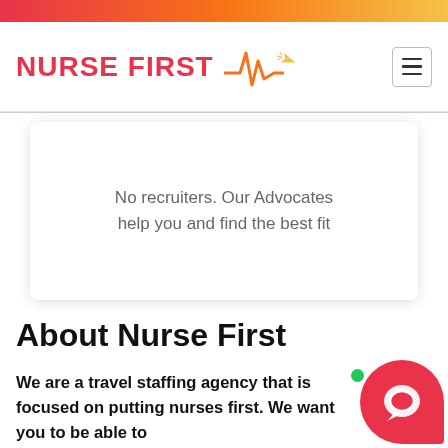[Figure (logo): Nurse First logo with heartbeat/EKG line and airplane icon in orange/red colors]
No recruiters. Our Advocates help you and find the best fit
About Nurse First
We are a travel staffing agency that is focused on putting nurses first. We want you to be able to
[Figure (illustration): Red chat/message widget bubble with white chat icon and green online dot]